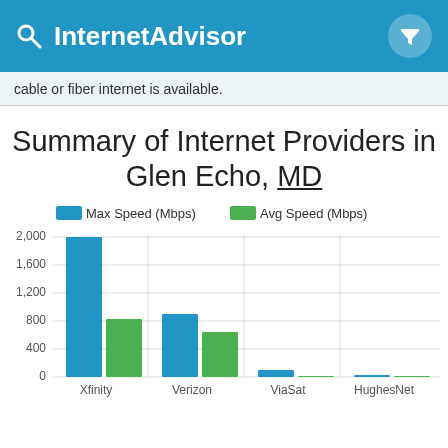InternetAdvisor
cable or fiber internet is available.
Summary of Internet Providers in Glen Echo, MD
[Figure (grouped-bar-chart): Summary of Internet Providers in Glen Echo, MD]